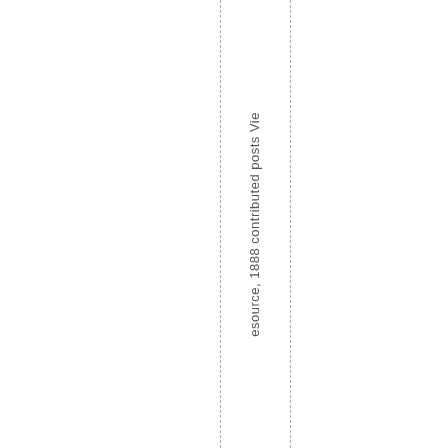esource, 1888 contributed posts Vie